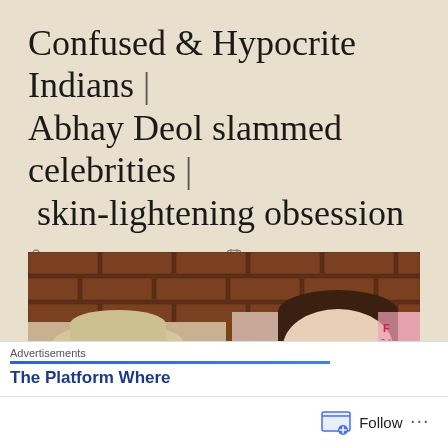Confused & Hypocrite Indians | Abhay Deol slammed celebrities | skin-lightening obsession
By RoMi blogs & Education   5th Jun 2020
No Comments
[Figure (photo): Photo showing two people against a brick wall background, one wearing a hat on the left and another person on the right]
Advertisements
The Platform Where
Follow